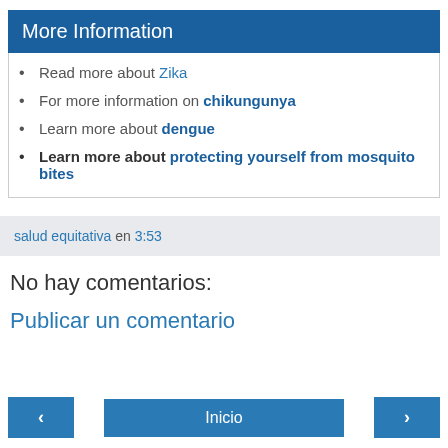More Information
Read more about Zika
For more information on chikungunya
Learn more about dengue
Learn more about protecting yourself from mosquito bites
salud equitativa en 3:53
No hay comentarios:
Publicar un comentario